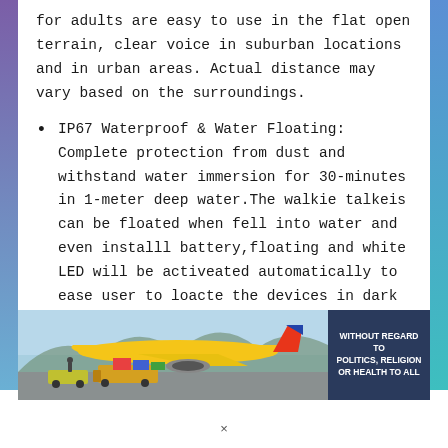for adults are easy to use in the flat open terrain, clear voice in suburban locations and in urban areas. Actual distance may vary based on the surroundings.
IP67 Waterproof & Water Floating: Complete protection from dust and withstand water immersion for 30-minutes in 1-meter deep water.The walkie talkeis can be floated when fell into water and even installl battery,floating and white LED will be activeated automatically to ease user to loacte the devices in dark environment.IP67 waterproof walkie talkies
[Figure (photo): Advertisement banner showing an airplane being loaded with cargo. Text overlay reads: WITHOUT REGARD TO POLITICS, RELIGION OR HEALTH TO ALL]
×